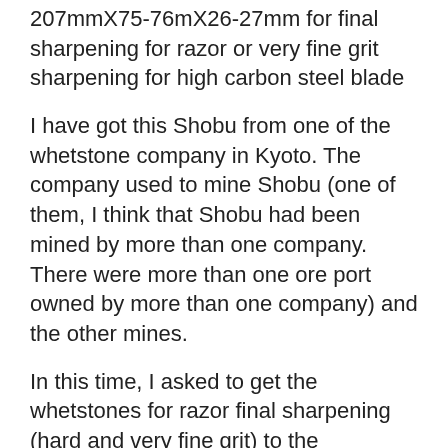207mmX75-76mX26-27mm for final sharpening for razor or very fine grit sharpening for high carbon steel blade
I have got this Shobu from one of the whetstone company in Kyoto. The company used to mine Shobu (one of them, I think that Shobu had been mined by more than one company. There were more than one ore port owned by more than one company) and the other mines.
In this time, I asked to get the whetstones for razor final sharpening (hard and very fine grit) to the company.
Shoubu-dani is the original mine to get high quality Japanese sword sharpening in Kyoto, and the mine run out the production of the ore,